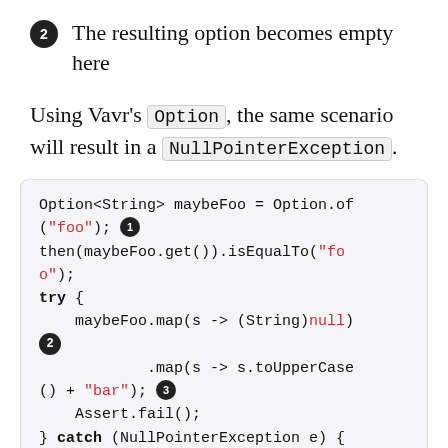2 The resulting option becomes empty here
Using Vavr's Option, the same scenario will result in a NullPointerException.
Option<String> maybeFoo = Option.of("foo"); 1 then(maybeFoo.get()).isEqualTo("foo"); try { maybeFoo.map(s -> (String)null) 2 .map(s -> s.toUpperCase() + "bar"); 3 Assert.fail(); } catch (NullPointerException e) { // this is clearly not the corr